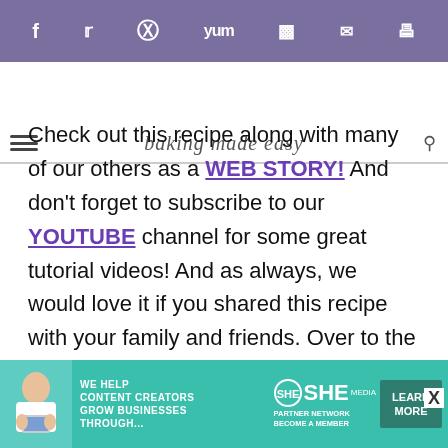Social share icons bar with Facebook, Twitter, Pinterest, Yummly, Flipboard, Email, Print icons
baking made easy (site logo/header)
Check out this recipe along with many of our others as a WEB STORY! And don't forget to subscribe to our YOUTUBE channel for some great tutorial videos! And as always, we would love it if you shared this recipe with your family and friends. Over to the side on this post and all of the others are handy dandy share buttons. We would sure be grateful if you
[Figure (infographic): Advertisement banner for SHE Media Partner Network: 'We help content creators grow businesses through... Become a member. Learn More' with teal background and person with laptop photo]